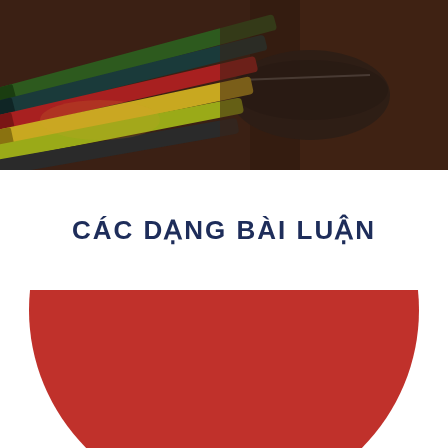[Figure (photo): Close-up photo of colored pencils (red, yellow, green, dark colors) in a pencil case on a wooden surface, blurred/bokeh background]
CÁC DẠNG BÀI LUẬN
[Figure (illustration): Large red circle, partially cropped at the bottom of the page, centered horizontally]